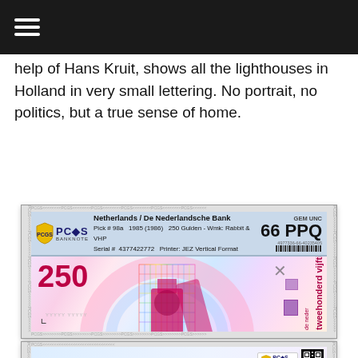☰ (hamburger menu)
help of Hans Kruit, shows all the lighthouses in Holland in very small lettering. No portrait, no politics, but a true sense of home.
[Figure (photo): PCGS Banknote graded slab showing front of Netherlands / De Nederlandsche Bank 250 Gulden banknote. Pick #98a, 1985 (1986), Wmk: Rabbit & VHP, Serial # 4377422772, Printer: JEZ Vertical Format. Grade: GEM UNC 66 PPQ. The banknote features colorful geometric/lighthouse design with '250' in red and vertical Dutch text.]
[Figure (photo): PCGS Banknote graded slab showing reverse/back side of the same Netherlands 250 Gulden banknote, with PCGS logo and QR code visible. Light blue background with watermark design.]